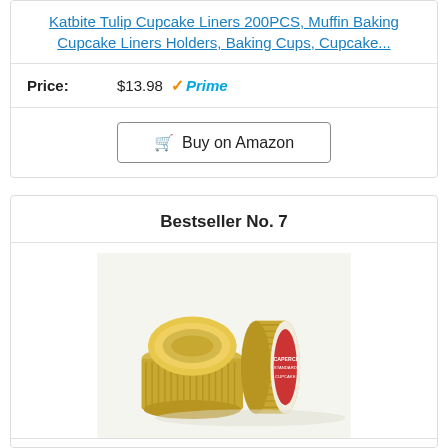Katbite Tulip Cupcake Liners 200PCS, Muffin Baking Cupcake Liners Holders, Baking Cups, Cupcake...
Price: $13.98 Prime
Buy on Amazon
Bestseller No. 7
[Figure (photo): Two stacks of gold foil cupcake liners, one standing upright and one sideways showing the Caperci label.]
Caperci Standard Cupcake Liners Gold Foil Muffin...